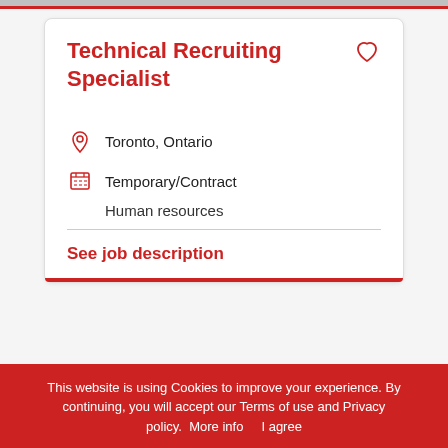Technical Recruiting Specialist
Toronto, Ontario
Temporary/Contract
Human resources
See job description
This website is using Cookies to improve your experience. By continuing, you will accept our Terms of use and Privacy policy.  More info     I agree